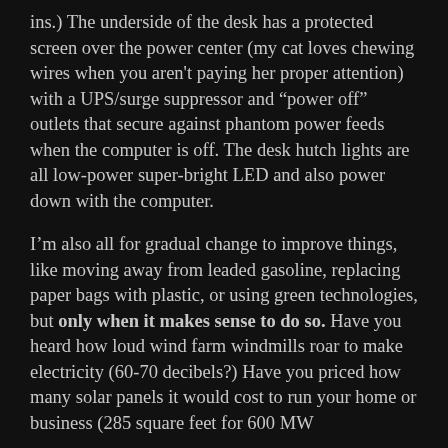ins.) The underside of the desk has a protected screen over the power center (my cat loves chewing wires when you aren't paying her proper attention) with a UPS/surge suppressor and “power off” outlets that secure against phantom power feeds when the computer is off. The desk hutch lights are all low-power super-bright LED and also power down with the computer.
I’m also all for gradual change to improve things, like moving away from leaded gasoline, replacing paper bags with plastic, or using green technologies, but only when it makes sense to do so. Have you heard how loud wind farm windmills roar to make electricity (60-70 decibels?) Have you priced how many solar panels it would cost to run your home or business (285 square feet for 600 MW